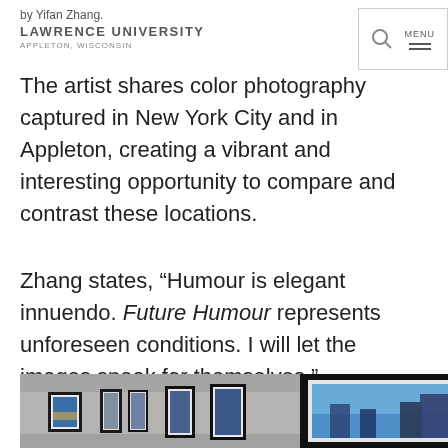by Yifan Zhang. LAWRENCE UNIVERSITY APPLETON, WISCONSIN
The artist shares color photography captured in New York City and in Appleton, creating a vibrant and interesting opportunity to compare and contrast these locations.
Zhang states, “Humour is elegant innuendo. Future Humour represents unforeseen conditions. I will let the images speak for themselves.”
[Figure (photo): Gallery wall with multiple framed color photographs hung in a row, showing an art exhibition space with grey walls.]